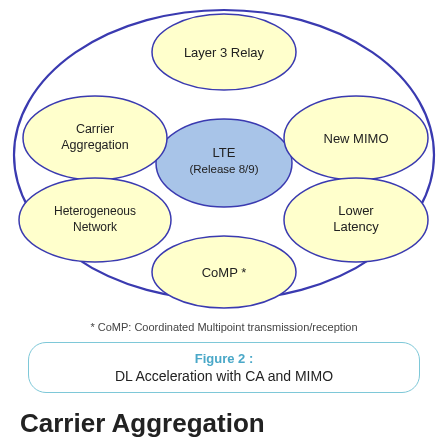[Figure (infographic): Oval diagram showing LTE (Release 8/9) in the center (blue ellipse), surrounded by five yellow ellipses: Layer 3 Relay (top), Carrier Aggregation (left), New MIMO (right), Heterogeneous Network (lower-left), Lower Latency (lower-right), CoMP * (bottom). All contained within a large outer oval with dark blue border.]
* CoMP: Coordinated Multipoint transmission/reception
Figure 2 :
DL Acceleration with CA and MIMO
Carrier Aggregation